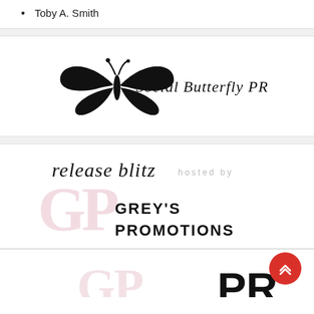Toby A. Smith
[Figure (logo): Social Butterfly PR logo — butterfly graphic in black ink with script text 'Social Butterfly PR']
[Figure (logo): Release blitz hosted by Grey's Promotions logo — script text 'release blitz hosted by' above bold uppercase 'GREY'S PROMOTIONS' with faded GP monogram watermark]
[Figure (logo): Partial view of another PR company logo at bottom of page, partially cut off]